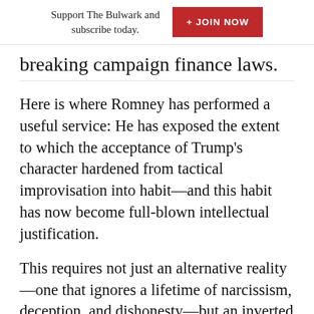Support The Bulwark and subscribe today.
breaking campaign finance laws.
Here is where Romney has performed a useful service: He has exposed the extent to which the acceptance of Trump's character hardened from tactical improvisation into habit—and this habit has now become full-blown intellectual justification.
This requires not just an alternative reality—one that ignores a lifetime of narcissism, deception, and dishonesty—but an inverted moral hierarchy in which Trump's character isn't just something to be apologized for, but is transsubstantiated into